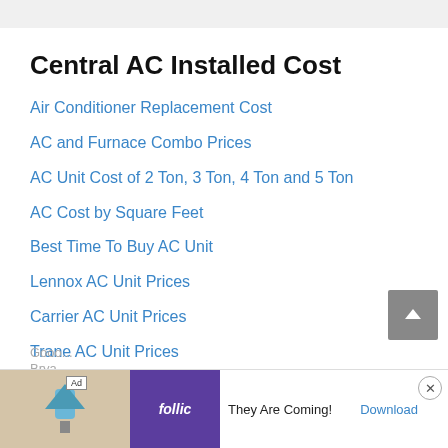Central AC Installed Cost
Air Conditioner Replacement Cost
AC and Furnace Combo Prices
AC Unit Cost of 2 Ton, 3 Ton, 4 Ton and 5 Ton
AC Cost by Square Feet
Best Time To Buy AC Unit
Lennox AC Unit Prices
Carrier AC Unit Prices
Trane AC Unit Prices
Rheem AC Unit Prices